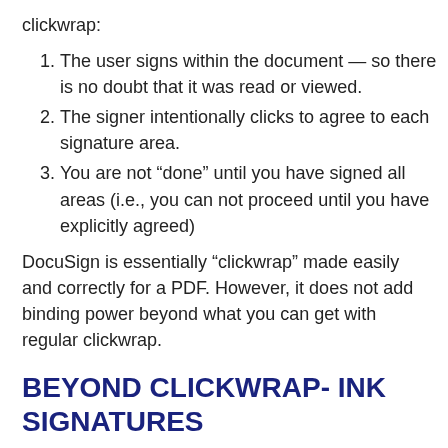clickwrap:
The user signs within the document — so there is no doubt that it was read or viewed.
The signer intentionally clicks to agree to each signature area.
You are not “done” until you have signed all areas (i.e., you can not proceed until you have explicitly agreed)
DocuSign is essentially “clickwrap” made easily and correctly for a PDF. However, it does not add binding power beyond what you can get with regular clickwrap.
BEYOND CLICKWRAP- INK SIGNATURES